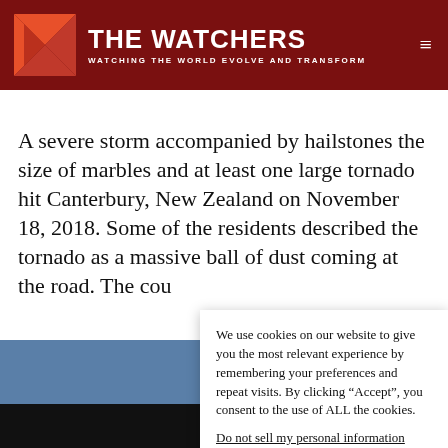THE WATCHERS — WATCHING THE WORLD EVOLVE AND TRANSFORM
A severe storm accompanied by hailstones the size of marbles and at least one large tornado hit Canterbury, New Zealand on November 18, 2018. Some of the residents described the tornado as a massive ball of dust coming at the road. The cou
[Figure (photo): Blue-grey rectangular image placeholder, partially obscured by cookie consent modal]
We use cookies on our website to give you the most relevant experience by remembering your preferences and repeat visits. By clicking “Accept”, you consent to the use of ALL the cookies.
Do not sell my personal information.